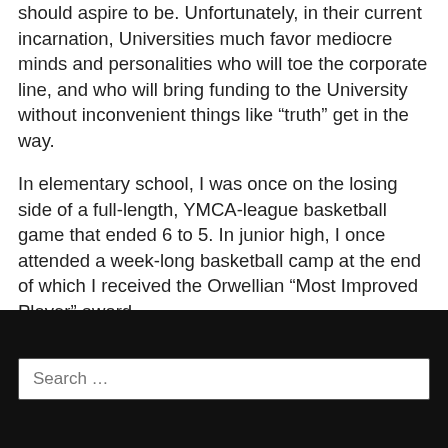should aspire to be. Unfortunately, in their current incarnation, Universities much favor mediocre minds and personalities who will toe the corporate line, and who will bring funding to the University without inconvenient things like “truth” get in the way.
In elementary school, I was once on the losing side of a full-length, YMCA-league basketball game that ended 6 to 5. In junior high, I once attended a week-long basketball camp at the end of which I received the Orwellian “Most Improved Player” award.
Search …